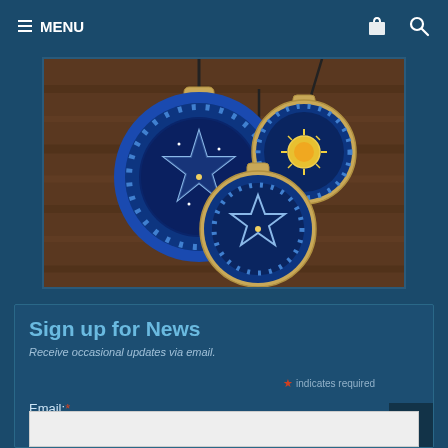≡ MENU
[Figure (photo): Three round pendants/medallions with zodiac and pentagram designs on a dark wooden background. The pendants have blue enameled faces showing celestial and astrological imagery including stars, pentagram stars, and a sun symbol.]
Sign up for News
Receive occasional updates via email.
* indicates required
Email:*